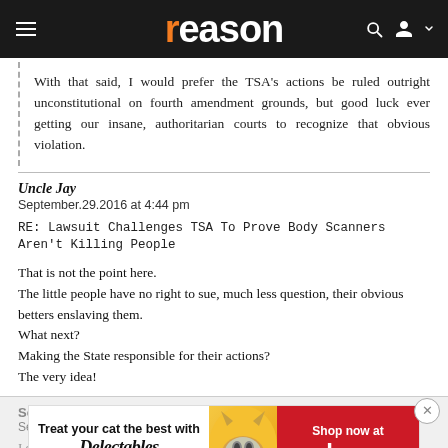reason
With that said, I would prefer the TSA’s actions be ruled outright unconstitutional on fourth amendment grounds, but good luck ever getting our insane, authoritarian courts to recognize that obvious violation.
Uncle Jay
September.29.2016 at 4:44 pm
RE: Lawsuit Challenges TSA To Prove Body Scanners Aren’t Killing People
That is not the point here.
The little people have no right to sue, much less question, their obvious betters enslaving them.
What next?
Making the State responsible for their actions?
The very idea!
Sevo
Septemb[er...]
I did the sums more than once; you don't even need to cite specific deaths to show that TSA is taking lives.
[Figure (screenshot): Advertisement banner for Delectables cat treats and Chewy.com with cat image]